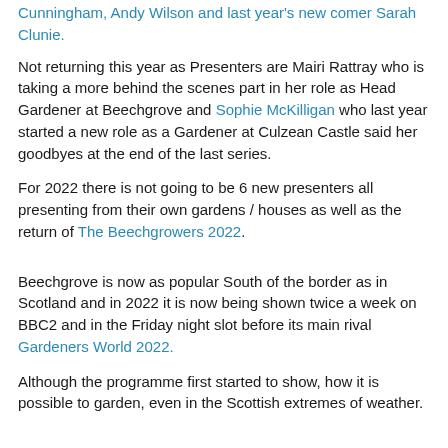Cunningham, Andy Wilson and last year's new comer Sarah Clunie.
Not returning this year as Presenters are Mairi Rattray who is taking a more behind the scenes part in her role as Head Gardener at Beechgrove and Sophie McKilligan who last year started a new role as a Gardener at Culzean Castle said her goodbyes at the end of the last series.
For 2022 there is not going to be 6 new presenters all presenting from their own gardens / houses as well as the return of The Beechgrowers 2022.
Beechgrove is now as popular South of the border as in Scotland and in 2022 it is now being shown twice a week on BBC2 and in the Friday night slot before its main rival Gardeners World 2022.
Although the programme first started to show, how it is possible to garden, even in the Scottish extremes of weather.